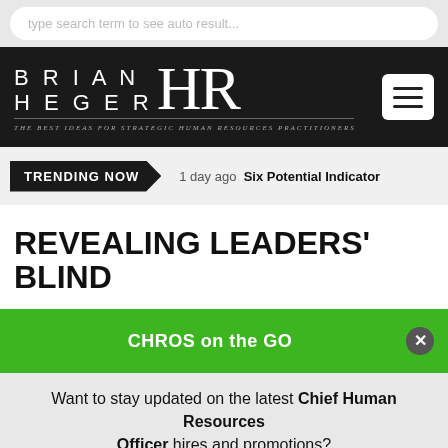type search term to see auto result...
[Figure (logo): Brian Heger HR logo with tagline: The best ideas for strategic Human Resources practitioners]
TRENDING NOW  1 day ago  Six Potential Indicator
REVEALING LEADERS' BLIND
CHROS on the GO
Want to stay updated on the latest Chief Human Resources Officer hires and promotions?
Check out CHROs on the Go